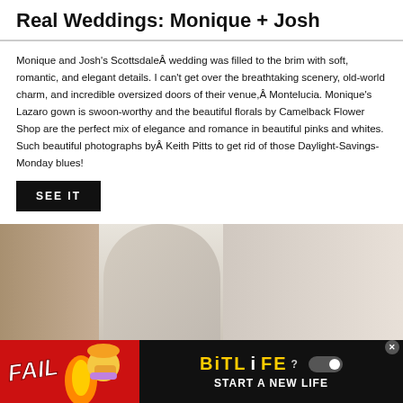Real Weddings: Monique + Josh
Monique and Josh's ScottsdaleÂ wedding was filled to the brim with soft, romantic, and elegant details. I can't get over the breathtaking scenery, old-world charm, and incredible oversized doors of their venue,Â Montelucia. Monique's Lazaro gown is swoon-worthy and the beautiful florals by Camelback Flower Shop are the perfect mix of elegance and romance in beautiful pinks and whites. Such beautiful photographs byÂ Keith Pitts to get rid of those Daylight-Savings-Monday blues!
SEE IT
[Figure (photo): Wedding venue photograph showing large ornate doors and architectural archway, light-colored walls with warm tones]
[Figure (other): BitLife advertisement banner with FAIL text, cartoon character, and START A NEW LIFE tagline on red and black background]